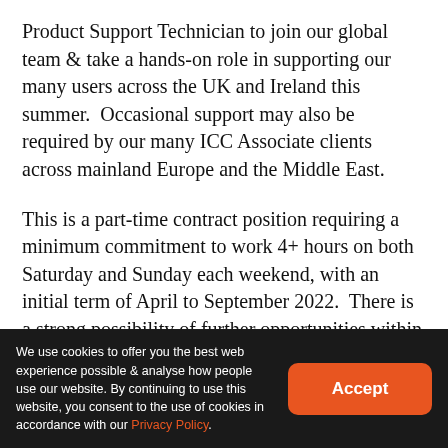Product Support Technician to join our global team & take a hands-on role in supporting our many users across the UK and Ireland this summer.  Occasional support may also be required by our many ICC Associate clients across mainland Europe and the Middle East.
This is a part-time contract position requiring a minimum commitment to work 4+ hours on both Saturday and Sunday each weekend, with an initial term of April to September 2022.  There is a strong possibility of further opportunities within NV Play for the right candidate once proven.
As a new role for NV Play, this is a fantastic opportunity for the right person to deliver hands on support across the
We use cookies to offer you the best web experience possible & analyse how people use our website. By continuing to use this website, you consent to the use of cookies in accordance with our Privacy Policy.
Accept
to be successful in this role, you will have a deep